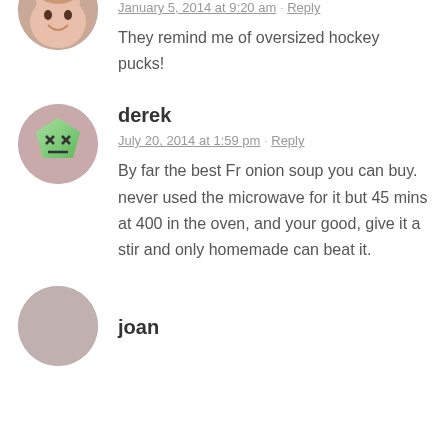[Figure (photo): Partial circular avatar photo of a smiling woman (Anita), cropped at top]
January 5, 2014 at 9:20 am · Reply
They remind me of oversized hockey pucks!
[Figure (illustration): Circular avatar with a cartoon green pentagon-shaped character with X eyes and a flat mouth]
derek
July 20, 2014 at 1:59 pm · Reply
By far the best Fr onion soup you can buy. never used the microwave for it but 45 mins at 400 in the oven, and your good, give it a stir and only homemade can beat it.
joan